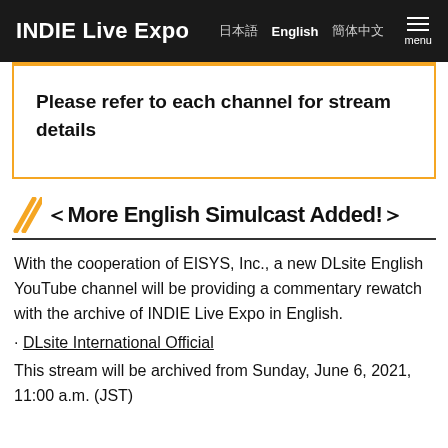INDIE Live Expo  日本語  English  簡体中文  menu
Please refer to each channel for stream details
＜More English Simulcast Added!＞
With the cooperation of EISYS, Inc., a new DLsite English YouTube channel will be providing a commentary rewatch with the archive of INDIE Live Expo in English.
• DLsite International Official
This stream will be archived from Sunday, June 6, 2021, 11:00 a.m. (JST)